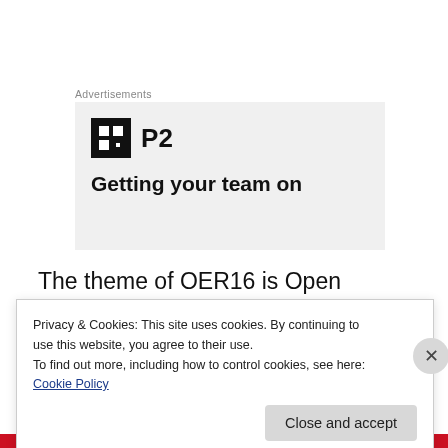Advertisements
[Figure (logo): P2 logo with icon and tagline 'Getting your team on']
The theme of OER16 is Open Culture in all its forms and the vision for the conference is to focus on the value proposition of embedding
Privacy & Cookies: This site uses cookies. By continuing to use this website, you agree to their use.
To find out more, including how to control cookies, see here: Cookie Policy